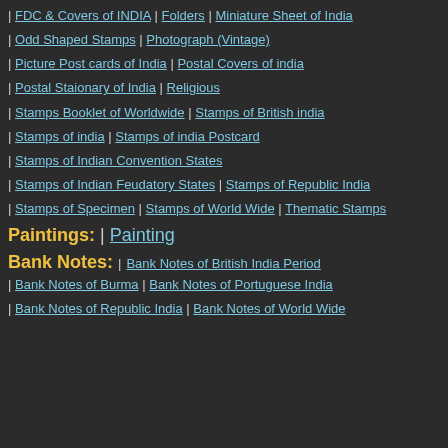| FDC & Covers of INDIA | Folders | Miniature Sheet of India
| Odd Shaped Stamps | Photograph (Vintage)
| Picture Post cards of India | Postal Covers of india
| Postal Staionary of India | Religious
| Stamps Booklet of Worldwide | Stamps of British india
| Stamps of india | Stamps of india Postcard
| Stamps of Indian Convention States
| Stamps of Indian Feudatory States | Stamps of Republic India
| Stamps of Specimen | Stamps of World Wide | Thematic Stamps
Paintings: | Painting
Bank Notes: | Bank Notes of British India Period
| Bank Notes of Burma | Bank Notes of Portuguese India
| Bank Notes of Republic India | Bank Notes of World Wide